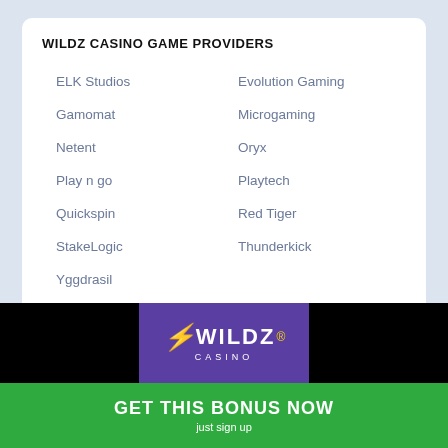WILDZ CASINO GAME PROVIDERS
ELK Studios
Evolution Gaming
Gamomat
Microgaming
Netent
Oryx
Play n go
Playtech
Quickspin
Red Tiger
StakeLogic
Thunderkick
Yggdrasil
[Figure (logo): Wildz Casino logo on purple background with black sides]
GET THIS BONUS NOW
just sign up